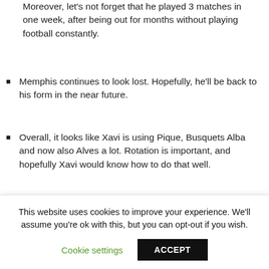Moreover, let's not forget that he played 3 matches in one week, after being out for months without playing football constantly.
Memphis continues to look lost. Hopefully, he'll be back to his form in the near future.
Overall, it looks like Xavi is using Pique, Busquets Alba and now also Alves a lot. Rotation is important, and hopefully Xavi would know how to do that well.
Bottom line
Losing to Real Madrid is never a good thing for us FC
This website uses cookies to improve your experience. We'll assume you're ok with this, but you can opt-out if you wish.
Cookie settings    ACCEPT